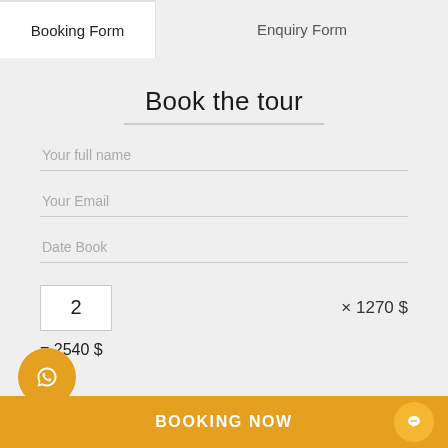Booking Form | Enquiry Form
Book the tour
Your full name
Your Email
Date Book
2   × 1270 $
= 2540 $
BOOKING NOW